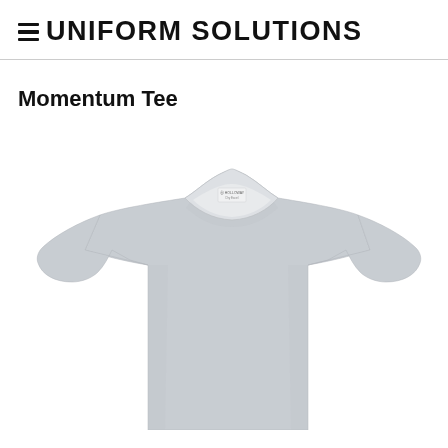≡ UNIFORM SOLUTIONS
Momentum Tee
[Figure (photo): A light gray/silver crew-neck short-sleeve t-shirt (Holloway brand) displayed flat against a white background, showing the front torso with a small Holloway label at the neckline.]